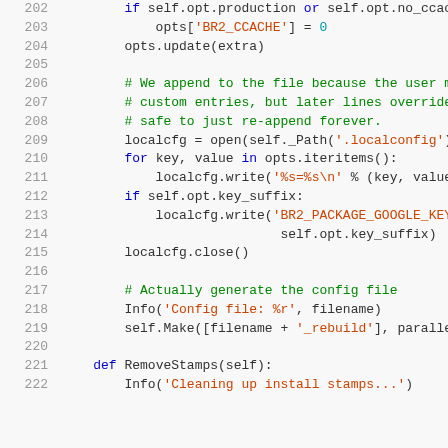[Figure (screenshot): Python source code lines 202-222 with syntax highlighting. Line numbers in gray on left, keywords in blue, strings in orange/red, comments in green.]